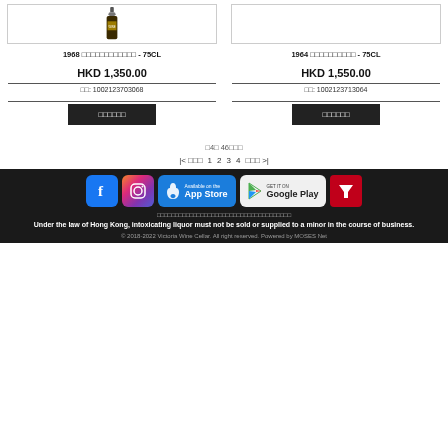[Figure (photo): Wine bottle product image for 1968 vintage 75CL]
1968 □□□□□□□□□□□□ - 75CL
HKD 1,350.00
□□: 1002123703068
□□□□□□ (add to cart button)
[Figure (photo): Wine bottle product image for 1964 vintage 75CL (no bottle shown)]
1964 □□□□□□□□□□ - 75CL
HKD 1,550.00
□□: 1002123713064
□□□□□□ (add to cart button)
□4□ 46□□□
|< □□□  1  2  3  4  □□□ >|
[Figure (logo): Facebook icon]
[Figure (logo): Instagram icon]
[Figure (logo): Available on the App Store button]
[Figure (logo): GET IT ON Google Play button]
[Figure (logo): Red filter/funnel icon]
□□□□□□□□□□□□□□□□□□□□□□□□□□□□□□□□□
Under the law of Hong Kong, intoxicating liquor must not be sold or supplied to a minor in the course of business.
© 2018-2022 Victoria Wine Cellar. All right reserved. Powered by MOSES Net